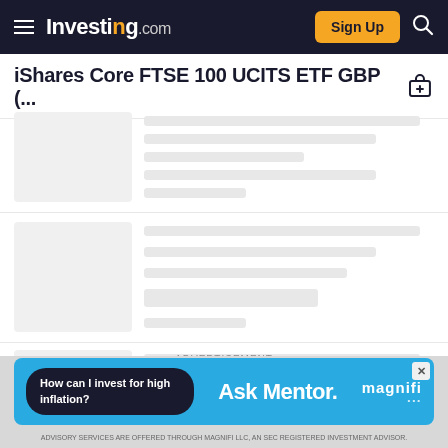Investing.com — Sign Up
iShares Core FTSE 100 UCITS ETF GBP (...
[Figure (screenshot): Loading skeleton placeholder row 1 with gray image box and gray content lines]
[Figure (screenshot): Loading skeleton placeholder row 2 with gray image box and gray content lines]
[Figure (screenshot): Loading skeleton placeholder row 3 with gray image box and gray content lines]
ADVERTISEMENT
[Figure (infographic): Advertisement banner: How can I invest for high inflation? Ask Mentor. magnifi — Advisory services are offered through Magnifi LLC, an SEC registered investment advisor.]